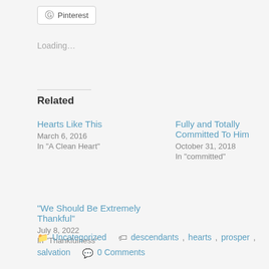[Figure (other): Pinterest share button with Pinterest logo icon]
Loading...
Related
Hearts Like This
March 6, 2016
In "A Clean Heart"
Fully and Totally Committed To Him
October 31, 2018
In "committed"
“We Should Be Extremely Thankful”
July 8, 2022
In "Thankfulness"
Uncategorized   descendants, hearts, prosper, salvation   0 Comments